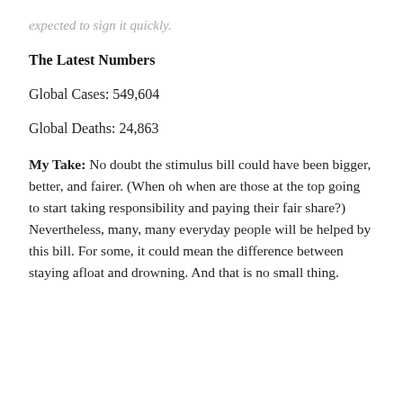expected to sign it quickly.
The Latest Numbers
Global Cases: 549,604
Global Deaths: 24,863
My Take: No doubt the stimulus bill could have been bigger, better, and fairer. (When oh when are those at the top going to start taking responsibility and paying their fair share?) Nevertheless, many, many everyday people will be helped by this bill. For some, it could mean the difference between staying afloat and drowning. And that is no small thing.